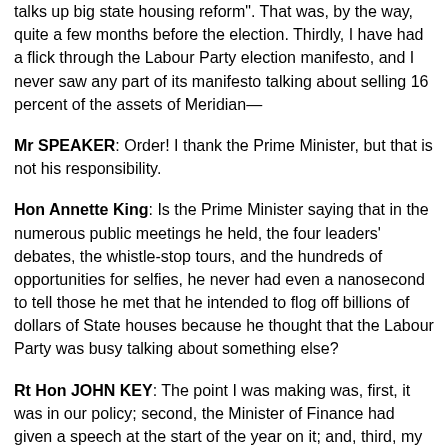talks up big state housing reform". That was, by the way, quite a few months before the election. Thirdly, I have had a flick through the Labour Party election manifesto, and I never saw any part of its manifesto talking about selling 16 percent of the assets of Meridian—
Mr SPEAKER: Order! I thank the Prime Minister, but that is not his responsibility.
Hon Annette King: Is the Prime Minister saying that in the numerous public meetings he held, the four leaders' debates, the whistle-stop tours, and the hundreds of opportunities for selfies, he never had even a nanosecond to tell those he met that he intended to flog off billions of dollars of State houses because he thought that the Labour Party was busy talking about something else?
Rt Hon JOHN KEY: The point I was making was, first, it was in our policy; second, the Minister of Finance had given a speech at the start of the year on it; and, third, my main point was that the Leader of the Opposition did not want to talk about it and neither did anyone else. They wanted to talk about every other little trumped-up scandal but